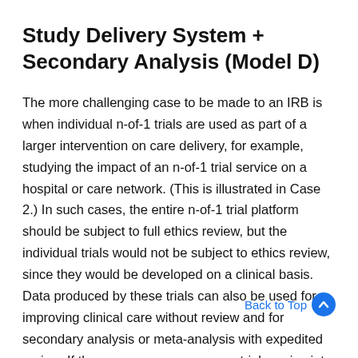Study Delivery System + Secondary Analysis (Model D)
The more challenging case to be made to an IRB is when individual n-of-1 trials are used as part of a larger intervention on care delivery, for example, studying the impact of an n-of-1 trial service on a hospital or care network. (This is illustrated in Case 2.) In such cases, the entire n-of-1 trial platform should be subject to full ethics review, but the individual trials would not be subject to ethics review, since they would be developed on a clinical basis. Data produced by these trials can also be used for improving clinical care without review and for secondary analysis or meta-analysis with expedited review. If th trial service into care is the sole purpose of giving individually individual care and the individual